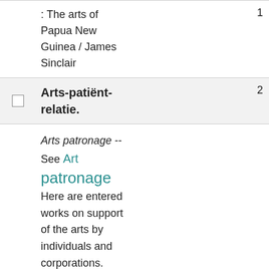: The arts of Papua New Guinea / James Sinclair
Arts-patiënt-relatie.
Arts patronage -- See Art patronage
Here are entered works on support of the arts by individuals and corporations. Works on support of the